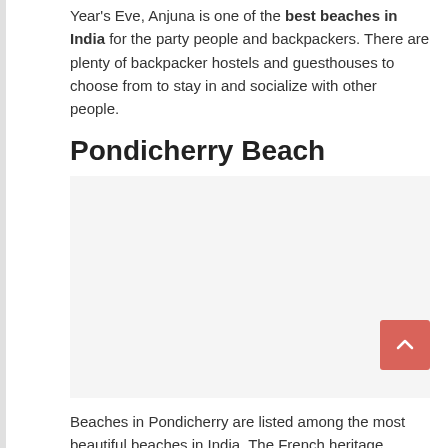Year's Eve, Anjuna is one of the best beaches in India for the party people and backpackers. There are plenty of backpacker hostels and guesthouses to choose from to stay in and socialize with other people.
Pondicherry Beach
[Figure (photo): Placeholder image area for Pondicherry Beach photo]
Beaches in Pondicherry are listed among the most beautiful beaches in India. The French heritage around them attracts travelers from around the globe. Auroville and Paradise beaches, the best beaches in Pondicherry,